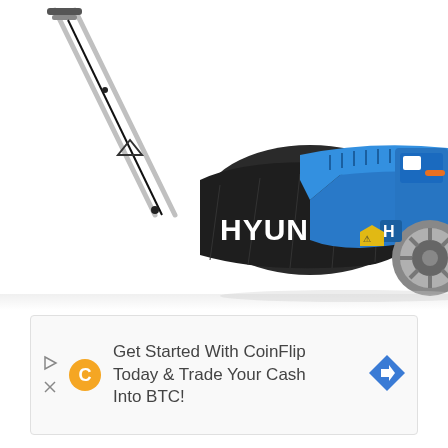[Figure (photo): A blue Hyundai petrol lawn mower with a grass collection bag labeled HYUNDAI, metal handle bars, silver alloy wheels, and engine visible on the right side. White background with slight reflection below the mower.]
[Figure (infographic): Advertisement banner: CoinFlip logo (orange C in circle), text reading 'Get Started With CoinFlip Today & Trade Your Cash Into BTC!', blue diamond arrow icon on right, small play and close icons on left bottom.]